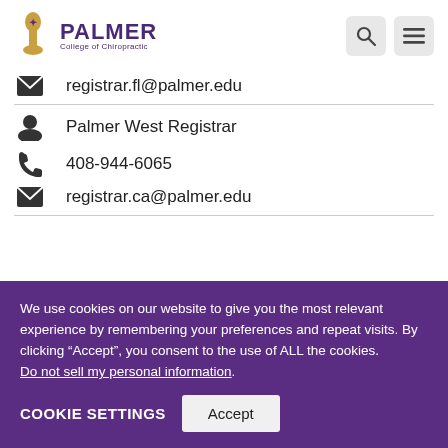Palmer College of Chiropractic
registrar.fl@palmer.edu
Palmer West Registrar
408-944-6065
registrar.ca@palmer.edu
We use cookies on our website to give you the most relevant experience by remembering your preferences and repeat visits. By clicking “Accept”, you consent to the use of ALL the cookies. Do not sell my personal information.
COOKIE SETTINGS  Accept